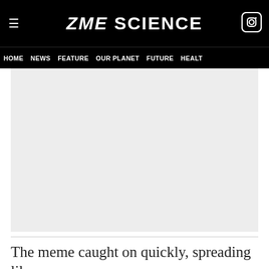ZME SCIENCE
HOME  NEWS  FEATURE  OUR PLANET  FUTURE  HEALT
[Figure (photo): Gray placeholder image area for an article photo]
The meme caught on quickly, spreading like